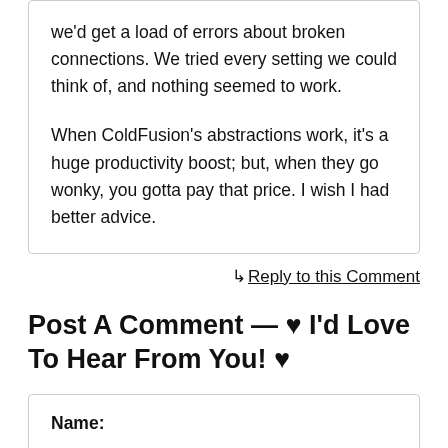we'd get a load of errors about broken connections. We tried every setting we could think of, and nothing seemed to work.

When ColdFusion's abstractions work, it's a huge productivity boost; but, when they go wonky, you gotta pay that price. I wish I had better advice.
↳ Reply to this Comment
Post A Comment — ♥ I'd Love To Hear From You! ♥
Name: